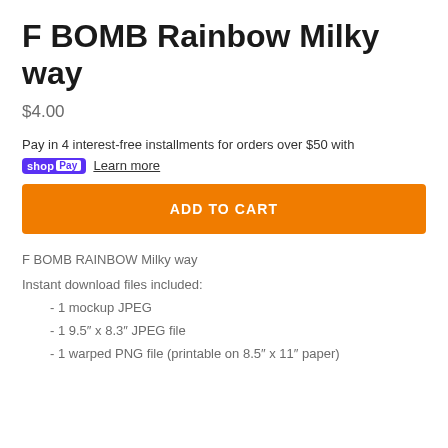F BOMB Rainbow Milky way
$4.00
Pay in 4 interest-free installments for orders over $50 with shop Pay Learn more
ADD TO CART
F BOMB RAINBOW Milky way
Instant download files included:
- 1 mockup JPEG
- 1 9.5″ x 8.3″ JPEG file
- 1 warped PNG file (printable on 8.5″ x 11″ paper)